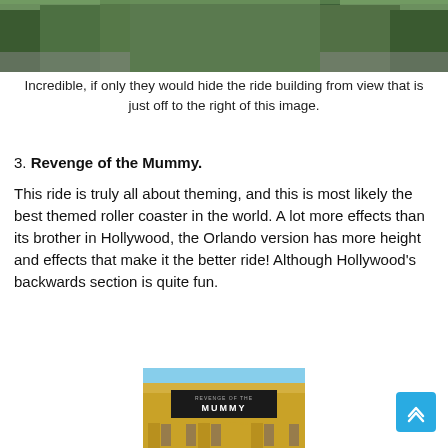[Figure (photo): Top portion of a photo showing trees and a ride building exterior]
Incredible, if only they would hide the ride building from view that is just off to the right of this image.
3. Revenge of the Mummy.
This ride is truly all about theming, and this is most likely the best themed roller coaster in the world. A lot more effects than its brother in Hollywood, the Orlando version has more height and effects that make it the better ride! Although Hollywood's backwards section is quite fun.
[Figure (photo): Facade of the Revenge of the Mummy ride at Universal Studios, showing a yellow museum building with columns, 'REVENGE OF THE MUMMY' sign and 'MUSEUM OF ANTIQUITIES' text, with movie banners between columns.]